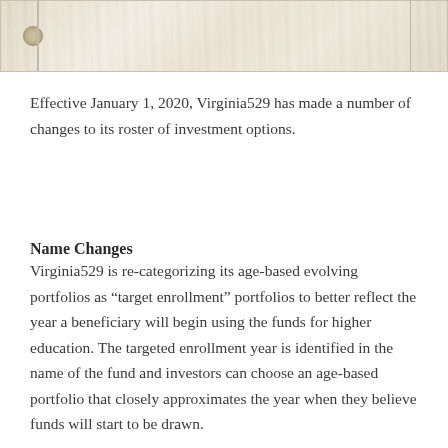[Figure (photo): Top portion of a wood-textured image with light grain pattern, with a dividing vertical line separating sections, and a circular knot visible on the left portion.]
Effective January 1, 2020, Virginia529 has made a number of changes to its roster of investment options.
Name Changes
Virginia529 is re-categorizing its age-based evolving portfolios as “target enrollment” portfolios to better reflect the year a beneficiary will begin using the funds for higher education. The targeted enrollment year is identified in the name of the fund and investors can choose an age-based portfolio that closely approximates the year when they believe funds will start to be drawn.